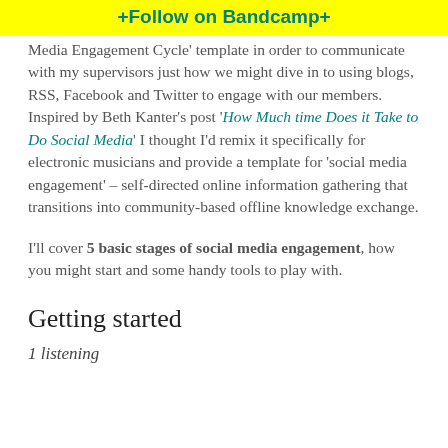+Follow on Bandcamp+
Media Engagement Cycle' template in order to communicate with my supervisors just how we might dive in to using blogs, RSS, Facebook and Twitter to engage with our members.  Inspired by Beth Kanter's post 'How Much time Does it Take to Do Social Media' I thought I'd remix it specifically for electronic musicians and provide a template for 'social media engagement' – self-directed online information gathering that transitions into community-based offline knowledge exchange.
I'll cover 5 basic stages of social media engagement, how you might start and some handy tools to play with.
Getting started
1 listening